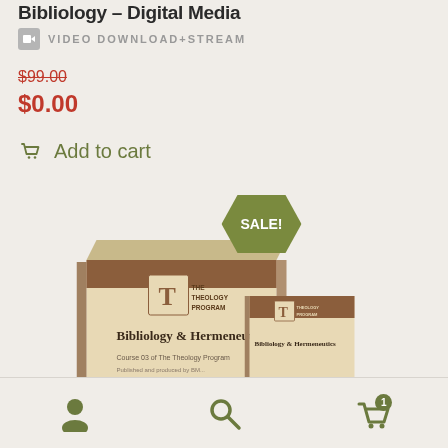...Bibliology – Digital Media
VIDEO DOWNLOAD+STREAM
$99.00 (original price, strikethrough)
$0.00
Add to cart
[Figure (photo): Product box set for 'Bibliology & Hermeneutics' course from The Theology Program, showing two course boxes with a SALE! badge overlay]
Bottom navigation bar with user icon, search icon, and cart icon showing 1 item